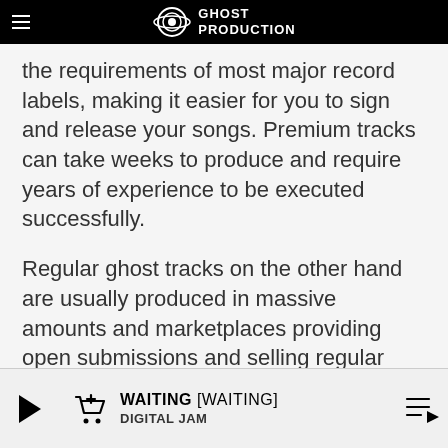Ghost Production
the requirements of most major record labels, making it easier for you to sign and release your songs. Premium tracks can take weeks to produce and require years of experience to be executed successfully.
Regular ghost tracks on the other hand are usually produced in massive amounts and marketplaces providing open submissions and selling regular ghost tracks are focused strictly on the quantity much more than the quality of the productions.
Who should buy Premium Ghost
WAITING [WAITING] DIGITAL JAM